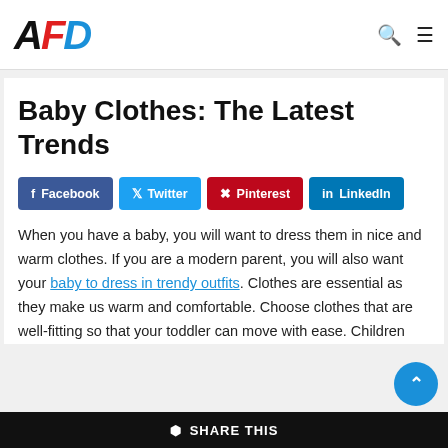AFD
Baby Clothes: The Latest Trends
Facebook  Twitter  Pinterest  LinkedIn
When you have a baby, you will want to dress them in nice and warm clothes. If you are a modern parent, you will also want your baby to dress in trendy outfits. Clothes are essential as they make us warm and comfortable. Choose clothes that are well-fitting so that your toddler can move with ease. Children
SHARE THIS